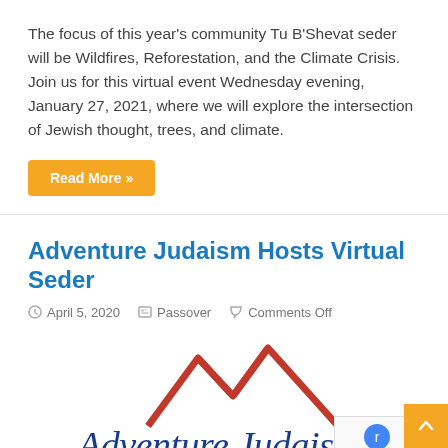The focus of this year's community Tu B'Shevat seder will be Wildfires, Reforestation, and the Climate Crisis. Join us for this virtual event Wednesday evening, January 27, 2021, where we will explore the intersection of Jewish thought, trees, and climate.
Read More »
Adventure Judaism Hosts Virtual Seder
April 5, 2020   Passover   Comments Off
[Figure (logo): Adventure Judaism logo with red mountain/peak graphic above blue italic text reading 'Adventure Judaism']